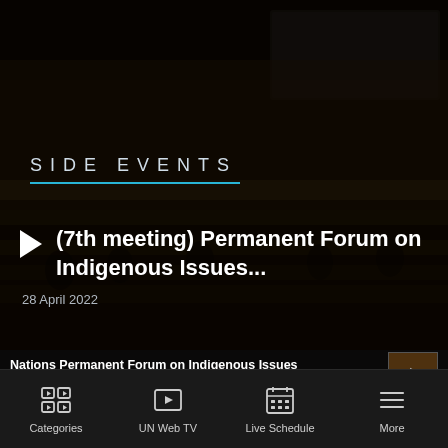[Figure (photo): Dark conference room with delegates seated at UN-style tiered desks, overhead lighting, projection screen in background. Heavy dark overlay applied.]
SIDE EVENTS
(7th meeting) Permanent Forum on Indigenous Issues...
28 April 2022
Nations Permanent Forum on Indigenous Issues Twenty-First Session: 25 April-6 May 2022
Categories | UN Web TV | Live Schedule | More